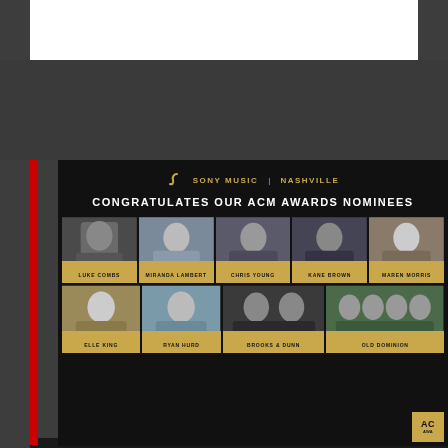[Figure (infographic): Sony Music Nashville ACM Awards Nominees promotional graphic featuring photos of Luke Combs, Miranda Lambert, Chris Young, Kane Brown, Maren Morris, Elle King, Ryan Hurd, Brooks & Dunn, and Old Dominion on a dark background with gold text.]